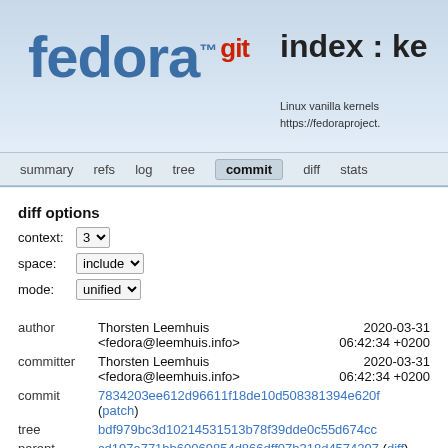[Figure (logo): Fedora git logo with 'fedora' in blue bold text, 'git' superscript in red, on light blue gradient background]
index : ke
Linux vanilla kernels
https://fedoraproject.
summary   refs   log   tree   commit   diff   stats
diff options
context: 3
space: include
mode: unified
|  |  |  |
| --- | --- | --- |
| author | Thorsten Leemhuis
<fedora@leemhuis.info> | 2020-03-31
06:42:34 +0200 |
| committer | Thorsten Leemhuis
<fedora@leemhuis.info> | 2020-03-31
06:42:34 +0200 |
| commit | 7834203ee612d96611f18de10d508381394e620f
(patch) |  |
| tree | bdf979bc3d10214531513b78f39dde0c55d674cc |  |
| parent | cd197a771bb60069854d866dff07b318d4574297 (diff) |  |